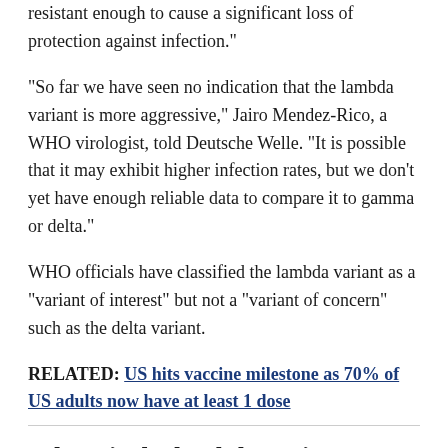resistant enough to cause a significant loss of protection against infection."
"So far we have seen no indication that the lambda variant is more aggressive," Jairo Mendez-Rico, a WHO virologist, told Deutsche Welle. "It is possible that it may exhibit higher infection rates, but we don't yet have enough reliable data to compare it to gamma or delta."
WHO officials have classified the lambda variant as a "variant of interest" but not a "variant of concern" such as the delta variant.
RELATED: US hits vaccine milestone as 70% of US adults now have at least 1 dose
Where is the lambda variant?